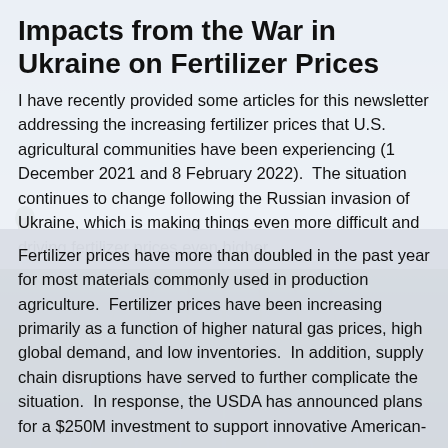Impacts from the War in Ukraine on Fertilizer Prices
I have recently provided some articles for this newsletter addressing the increasing fertilizer prices that U.S. agricultural communities have been experiencing (1 December 2021 and 8 February 2022).  The situation continues to change following the Russian invasion of Ukraine, which is making things even more difficult and driving fertilizer prices even higher.
Fertilizer prices have more than doubled in the past year for most materials commonly used in production agriculture.  Fertilizer prices have been increasing primarily as a function of higher natural gas prices, high global demand, and low inventories.  In addition, supply chain disruptions have served to further complicate the situation.  In response, the USDA has announced plans for a $250M investment to support innovative American-